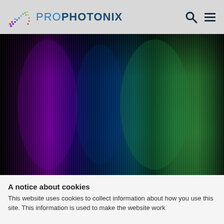PRO PHOTONIX
[Figure (photo): Dark background with vertical bands of color — purple on the left, dark blue/teal in the center, and green on the right — resembling a light spectrum or aurora effect.]
A notice about cookies
This website uses cookies to collect information about how you use this site. This information is used to make the website work